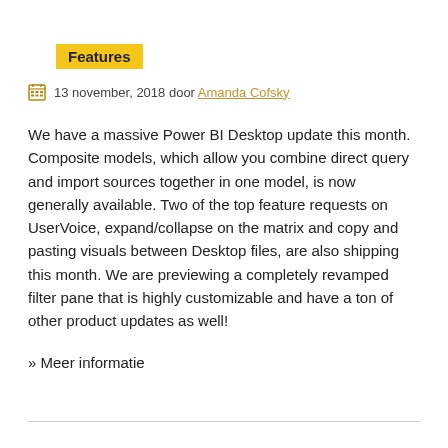Features
13 november, 2018 door Amanda Cofsky
We have a massive Power BI Desktop update this month. Composite models, which allow you combine direct query and import sources together in one model, is now generally available. Two of the top feature requests on UserVoice, expand/collapse on the matrix and copy and pasting visuals between Desktop files, are also shipping this month. We are previewing a completely revamped filter pane that is highly customizable and have a ton of other product updates as well!
» Meer informatie